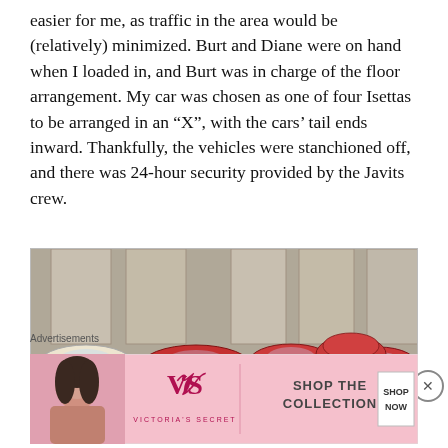easier for me, as traffic in the area would be (relatively) minimized. Burt and Diane were on hand when I loaded in, and Burt was in charge of the floor arrangement. My car was chosen as one of four Isettas to be arranged in an “X”, with the cars’ tail ends inward. Thankfully, the vehicles were stanchioned off, and there was 24-hour security provided by the Javits crew.
[Figure (photo): Indoor photo of multiple small Isetta cars arranged in a convention hall. A cream/white Isetta is visible on the left, with several red Isettas grouped in the center and right. The cars are seen from above/behind, showing their rounded roofs and rear ends. The hall has concrete walls with large panels in the background.]
Advertisements
[Figure (screenshot): Victoria's Secret advertisement banner. Shows a model on the left with the Victoria's Secret VS logo and name in the center, and text 'SHOP THE COLLECTION' with a white 'SHOP NOW' button on the right. Pink background.]